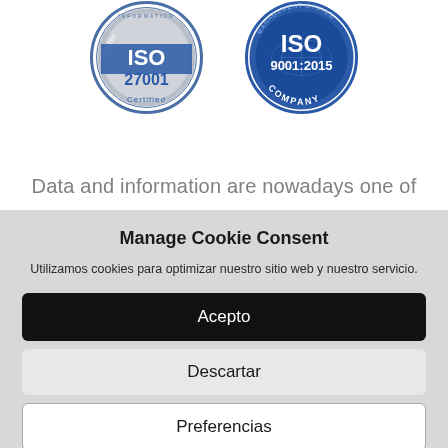[Figure (logo): ISO 27001 Certified badge - circular blue and grey certification seal]
[Figure (logo): ISO 9001:2015 Company badge - circular blue certification seal]
Data and information are nowadays one of
Manage Cookie Consent
Utilizamos cookies para optimizar nuestro sitio web y nuestro servicio.
Acepto
Descartar
Preferencias